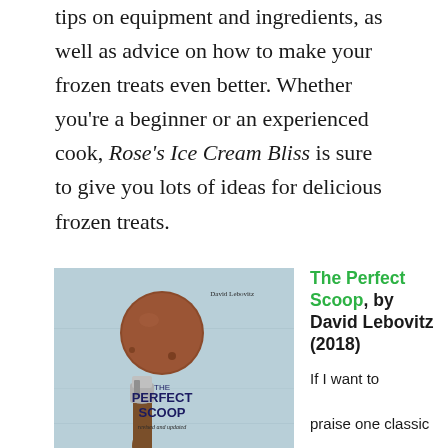tips on equipment and ingredients, as well as advice on how to make your frozen treats even better. Whether you're a beginner or an experienced cook, Rose's Ice Cream Bliss is sure to give you lots of ideas for delicious frozen treats.
[Figure (photo): Book cover of 'The Perfect Scoop' by David Lebovitz, revised and updated (2018). Shows a scoop of chocolate ice cream on an ice cream scoop tool against a light blue background.]
The Perfect Scoop, by David Lebovitz (2018)

If I want to praise one classic